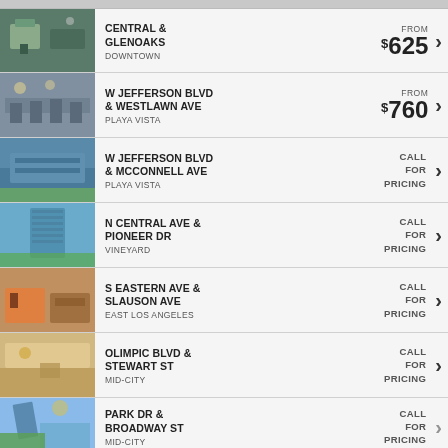CENTRAL & GLENOAKS — DOWNTOWN — FROM $625
W JEFFERSON BLVD & WESTLAWN AVE — PLAYA VISTA — FROM $760
W JEFFERSON BLVD & MCCONNELL AVE — PLAYA VISTA — CALL FOR PRICING
N CENTRAL AVE & PIONEER DR — VINEYARD — CALL FOR PRICING
S EASTERN AVE & SLAUSON AVE — EAST LOS ANGELES — CALL FOR PRICING
OLIMPIC BLVD & STEWART ST — MID-CITY — CALL FOR PRICING
PARK DR & BROADWAY ST — MID-CITY — CALL FOR PRICING